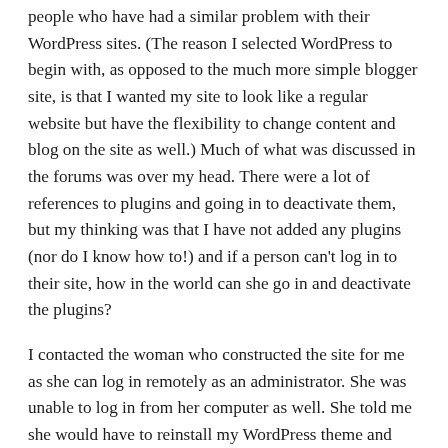people who have had a similar problem with their WordPress sites. (The reason I selected WordPress to begin with, as opposed to the much more simple blogger site, is that I wanted my site to look like a regular website but have the flexibility to change content and blog on the site as well.) Much of what was discussed in the forums was over my head. There were a lot of references to plugins and going in to deactivate them, but my thinking was that I have not added any plugins (nor do I know how to!) and if a person can't log in to their site, how in the world can she go in and deactivate the plugins?
I contacted the woman who constructed the site for me as she can log in remotely as an administrator. She was unable to log in from her computer as well. She told me she would have to reinstall my WordPress theme and rebuild the website. And she wasn't sure how long that would take her to do. (Time equals money.) My daughter also attempted to find a fix for the issue. She discovered numerous viruses on my website, so she deleted those. And she and I together decided to move my site to a new web host, since axspace has been unresponsive to my requests for help, and to get away from WordPress since there is a problem there with the viruses and whatnot.